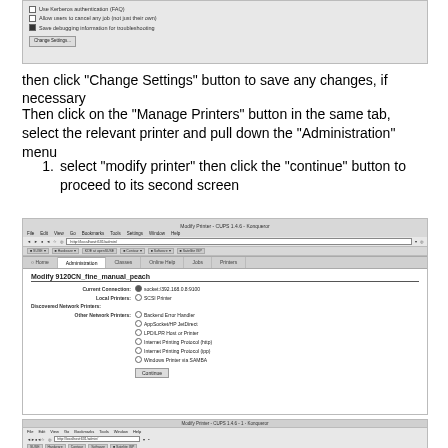[Figure (screenshot): Partial screenshot of a printer settings dialog showing checkboxes for 'Use Kerberos authentication', 'Allow users to cancel any job (not just their own)', 'Save debugging information for troubleshooting', and a 'Change Settings' button.]
then click "Change Settings" button to save any changes, if necessary
Then click on the "Manage Printers" button in the same tab, select the relevant printer and pull down the "Administration" menu
select "modify printer" then click the "continue" button to proceed to its second screen
[Figure (screenshot): Screenshot of Modify Printer - CUPS 1.4.6 - Konqueror browser window showing the Administration tab with the 'Modify 9120CN_fine_manual_peach' form. Fields shown: Current Connection (socket:/392.168.0.8:9100 selected), Local Printers (SCSI Printer), Discovered Network Printers header, Other Network Printers with radio buttons for Backend Error Handler, AppSocket/HP JetDirect, LPD/LPR Host or Printer, Internet Printing Protocol (http), Internet Printing Protocol (ipp), Windows Printer via SAMBA, and a Continue button.]
[Figure (screenshot): Partial screenshot of another Modify Printer browser window.]